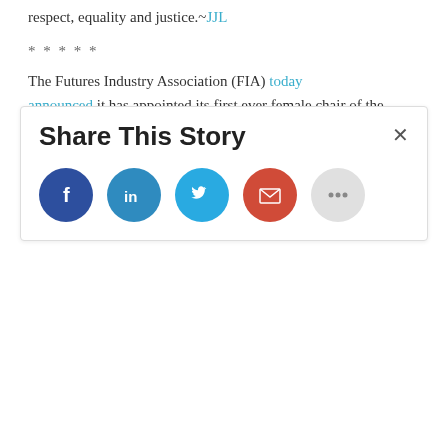respect, equality and justice. ~JJL
*****
The Futures Industry Association (FIA) today announced it has appointed its first ever female chair of the board, Alicia Crighton, global co-head of futures and head of OTC and prime clearing businesses at Goldman Sachs. Crighton has served on the FIA board of directors since 2018. FIA also announced new board members. ~SR
++++
Share This Story